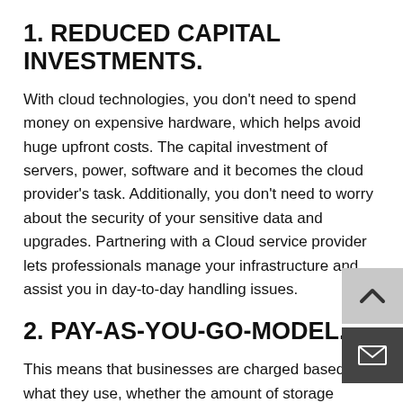1. REDUCED CAPITAL INVESTMENTS.
With cloud technologies, you don’t need to spend money on expensive hardware, which helps avoid huge upfront costs. The capital investment of servers, power, software and it becomes the cloud provider’s task. Additionally, you don’t need to worry about the security of your sensitive data and upgrades. Partnering with a Cloud service provider lets professionals manage your infrastructure and assist you in day-to-day handling issues.
2. PAY-AS-YOU-GO-MODEL.
This means that businesses are charged based on what they use, whether the amount of storage includes many email boxes or virtual server hours – you only